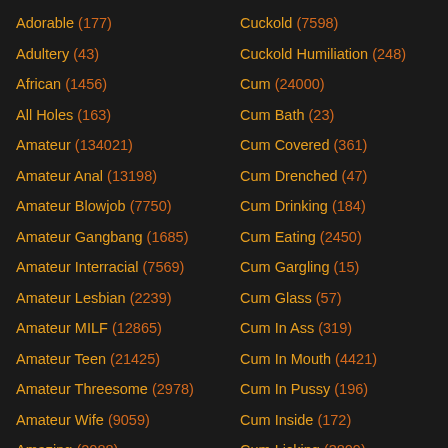Adorable (177)
Adultery (43)
African (1456)
All Holes (163)
Amateur (134021)
Amateur Anal (13198)
Amateur Blowjob (7750)
Amateur Gangbang (1685)
Amateur Interracial (7569)
Amateur Lesbian (2239)
Amateur MILF (12865)
Amateur Teen (21425)
Amateur Threesome (2978)
Amateur Wife (9059)
Amazing (2088)
American (2419)
Cuckold (7598)
Cuckold Humiliation (248)
Cum (24000)
Cum Bath (23)
Cum Covered (361)
Cum Drenched (47)
Cum Drinking (184)
Cum Eating (2450)
Cum Gargling (15)
Cum Glass (57)
Cum In Ass (319)
Cum In Mouth (4421)
Cum In Pussy (196)
Cum Inside (172)
Cum Licking (3809)
Cum On Ass (541)